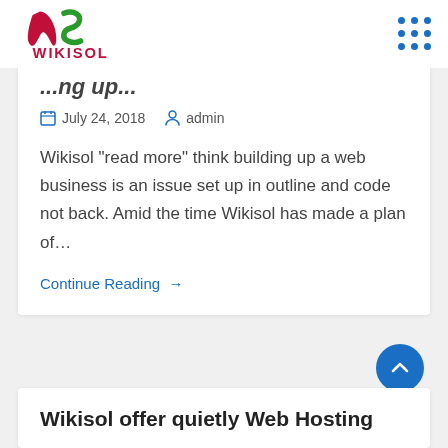WIKISOL
[partial article title visible]
July 24, 2018  admin
Wikisol "read more" think building up a web business is an issue set up in outline and code not back. Amid the time Wikisol has made a plan of...
Continue Reading →
Wikisol offer quietly Web Hosting